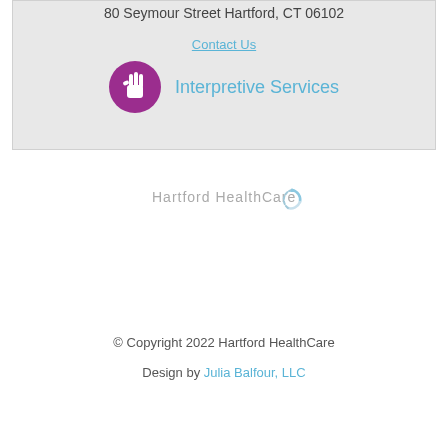80 Seymour Street Hartford, CT 06102
Contact Us
[Figure (logo): Purple circular icon with sign language hand gesture and text 'Interpretive Services' in teal/cyan color]
[Figure (logo): Hartford HealthCare logo in light gray with circular arrow graphic]
© Copyright 2022 Hartford HealthCare
Design by Julia Balfour, LLC